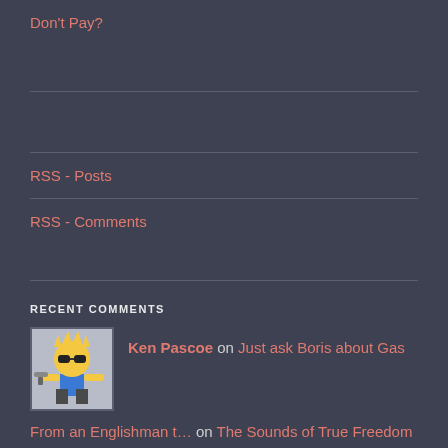Don't Pay?
RSS - Posts
RSS - Comments
RECENT COMMENTS
Ken Pascoe on Just ask Boris about Gas
From an Englishman t… on The Sounds of True Freedom
And we just have to… on Be very careful what you